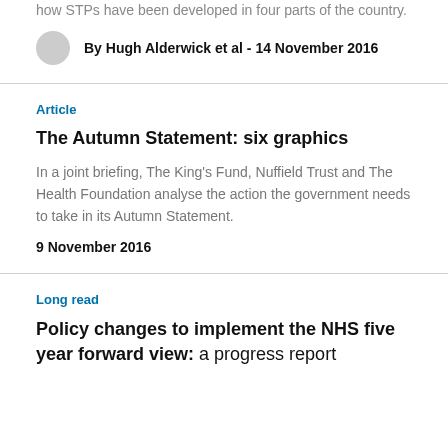how STPs have been developed in four parts of the country.
By Hugh Alderwick et al - 14 November 2016
Article
The Autumn Statement: six graphics
In a joint briefing, The King's Fund, Nuffield Trust and The Health Foundation analyse the action the government needs to take in its Autumn Statement.
9 November 2016
Long read
Policy changes to implement the NHS five year forward view: a progress report